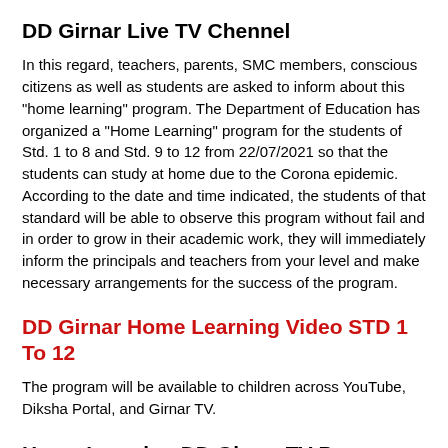DD Girnar Live TV Chennel
In this regard, teachers, parents, SMC members, conscious citizens as well as students are asked to inform about this "home learning" program. The Department of Education has organized a "Home Learning" program for the students of Std. 1 to 8 and Std. 9 to 12 from 22/07/2021 so that the students can study at home due to the Corona epidemic. According to the date and time indicated, the students of that standard will be able to observe this program without fail and in order to grow in their academic work, they will immediately inform the principals and teachers from your level and make necessary arrangements for the success of the program.
DD Girnar Home Learning Video STD 1 To 12
The program will be available to children across YouTube, Diksha Portal, and Girnar TV.
Home Learning DD Girnar TV Program Time Table for std 1 to 12